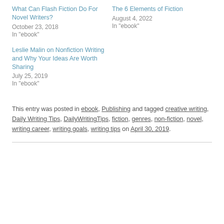What Can Flash Fiction Do For Novel Writers?
October 23, 2018
In "ebook"
The 6 Elements of Fiction
August 4, 2022
In "ebook"
Leslie Malin on Nonfiction Writing and Why Your Ideas Are Worth Sharing
July 25, 2019
In "ebook"
This entry was posted in ebook, Publishing and tagged creative writing, Daily Writing Tips, DailyWritingTips, fiction, genres, non-fiction, novel, writing career, writing goals, writing tips on April 30, 2019.